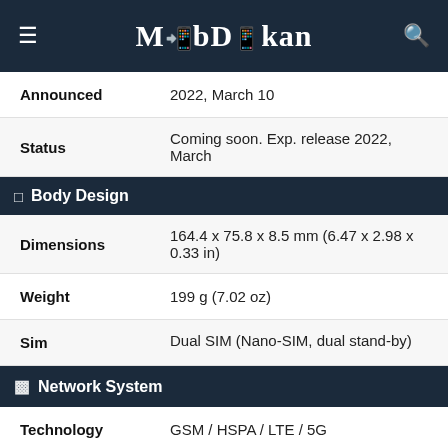MobDokan
| Property | Value |
| --- | --- |
| Announced | 2022, March 10 |
| Status | Coming soon. Exp. release 2022, March |
| Body Design |  |
| Dimensions | 164.4 x 75.8 x 8.5 mm (6.47 x 2.98 x 0.33 in) |
| Weight | 199 g (7.02 oz) |
| Sim | Dual SIM (Nano-SIM, dual stand-by) |
| Network System |  |
| Technology | GSM / HSPA / LTE / 5G |
| 2g Bands | GSM 850 / 900 / 1800 / 1900 - SIM 1 & SIM 2 |